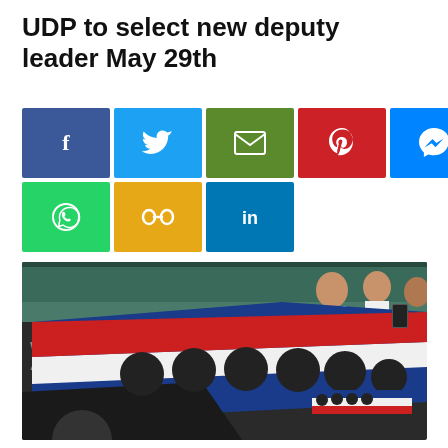UDP to select new deputy leader May 29th
[Figure (infographic): Social media sharing buttons: Facebook (blue), Twitter (blue), Email (green), Pinterest (red), Messenger (blue), WhatsApp (green), Copy link (yellow/orange), LinkedIn (blue)]
[Figure (photo): Close-up photo of a UDP (United Democratic Party) flag of Belize with red, white, and blue stripes and black dots/circles, being waved at a political event. A crowd of people is visible in the background balcony.]